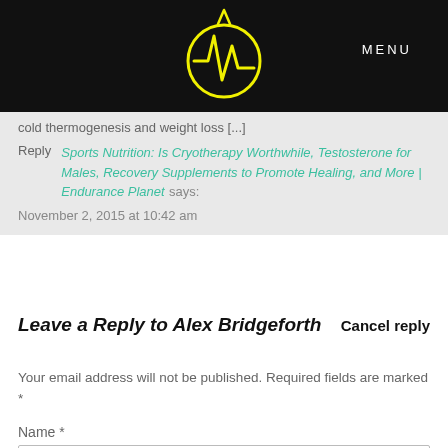MENU
[Figure (logo): Endurance Planet logo: yellow lightning bolt/pulse line inside a yellow circle outline on black background]
cold thermogenesis and weight loss [...]
Reply  Sports Nutrition: Is Cryotherapy Worthwhile, Testosterone for Males, Recovery Supplements to Promote Healing, and More | Endurance Planet says:
November 2, 2015 at 10:42 am
Leave a Reply to Alex Bridgeforth    Cancel reply
Your email address will not be published. Required fields are marked *
Name *
Email *